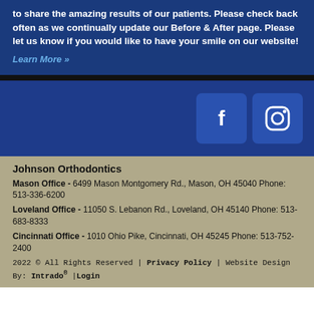to share the amazing results of our patients. Please check back often as we continually update our Before & After page. Please let us know if you would like to have your smile on our website!
Learn More »
[Figure (logo): Facebook and Instagram social media icons on dark blue background]
Johnson Orthodontics
Mason Office - 6499 Mason Montgomery Rd., Mason, OH 45040 Phone: 513-336-6200
Loveland Office - 11050 S. Lebanon Rd., Loveland, OH 45140 Phone: 513-683-8333
Cincinnati Office - 1010 Ohio Pike, Cincinnati, OH 45245 Phone: 513-752-2400
2022 © All Rights Reserved | Privacy Policy | Website Design By: Intrado® |Login